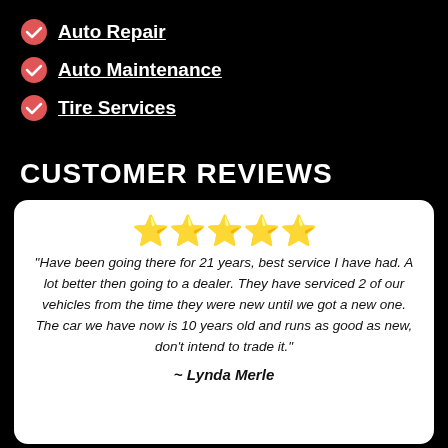Auto Repair
Auto Maintenance
Tire Services
CUSTOMER REVIEWS
[Figure (other): Five gold star rating emoji]
"Have been going there for 21 years, best service I have had. A lot better then going to a dealer. They have serviced 2 of our vehicles from the time they were new until we got a new one. The car we have now is 10 years old and runs as good as new, don't intend to trade it."
~ Lynda Merle